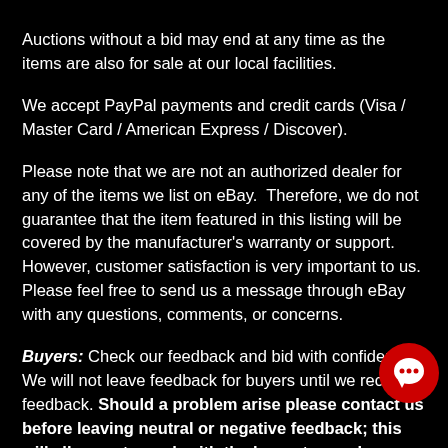Auctions without a bid may end at any time as the items are also for sale at our local facilities.
We accept PayPal payments and credit cards (Visa / Master Card / American Express / Discover).
Please note that we are not an authorized dealer for any of the items we list on eBay.  Therefore, we do not guarantee that the item featured in this listing will be covered by the manufacturer's warranty or support.  However, customer satisfaction is very important to us. Please feel free to send us a message through eBay with any questions, comments, or concerns.
Buyers: Check our feedback and bid with confidence. We will not leave feedback for buyers until we receive feedback. Should a problem arise please contact us before leaving neutral or negative feedback; this will allow us to work with the buyer to resolve any